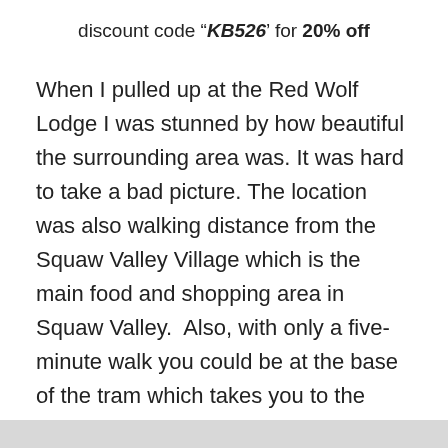discount code “KB526’ for 20% off
When I pulled up at the Red Wolf Lodge I was stunned by how beautiful the surrounding area was. It was hard to take a bad picture. The location was also walking distance from the Squaw Valley Village which is the main food and shopping area in Squaw Valley.  Also, with only a five-minute walk you could be at the base of the tram which takes you to the Olympic Museum and what is known as High Camp.